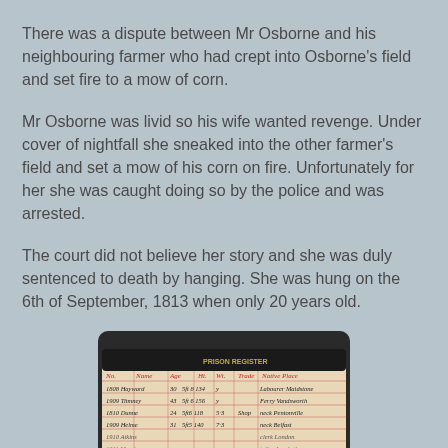There was a dispute between Mr Osborne and his neighbouring farmer who had crept into Osborne's field and set fire to a mow of corn.
Mr Osborne was livid so his wife wanted revenge. Under cover of nightfall she sneaked into the other farmer's field and set a mow of his corn on fire. Unfortunately for her she was caught doing so by the police and was arrested.
The court did not believe her story and she was duly sentenced to death by hanging. She was hung on the 6th of September, 1813 when only 20 years old.
[Figure (photo): A photograph of an old handwritten prison or court record book with red grid lines and cursive entries in black ink, showing historical prisoner data.]